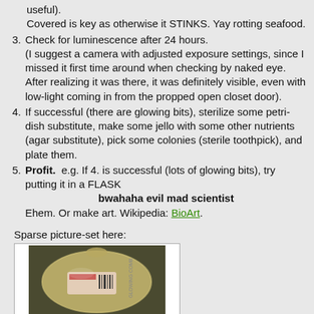useful).
Covered is key as otherwise it STINKS. Yay rotting seafood.
3. Check for luminescence after 24 hours.
(I suggest a camera with adjusted exposure settings, since I missed it first time around when checking by naked eye. After realizing it was there, it was definitely visible, even with low-light coming in from the propped open closet door).
4. If successful (there are glowing bits), sterilize some petri-dish substitute, make some jello with some other nutrients (agar substitute), pick some colonies (sterile toothpick), and plate them.
5. Profit.  e.g. If 4. is successful (lots of glowing bits), try putting it in a FLASK
bwahaha evil mad scientist
Ehem. Or make art. Wikipedia: BioArt.
Sparse picture-set here:
[Figure (photo): A packaged plastic-wrapped item (appears to be seafood) with a barcode label visible, photographed on a dark background.]